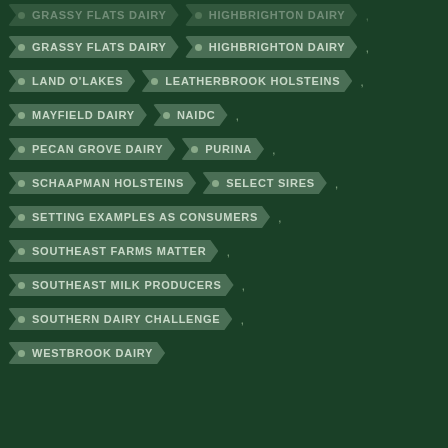GRASSY FLATS DAIRY
HIGHBRIGHTON DAIRY
LAND O'LAKES
LEATHERBROOK HOLSTEINS
MAYFIELD DAIRY
NAIDC
PECAN GROVE DAIRY
PURINA
SCHAAPMAN HOLSTEINS
SELECT SIRES
SETTING EXAMPLES AS CONSUMERS
SOUTHEAST FARMS MATTER
SOUTHEAST MILK PRODUCERS
SOUTHERN DAIRY CHALLENGE
WESTBROOK DAIRY